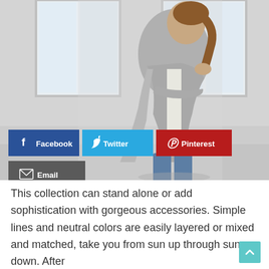[Figure (photo): Woman wearing a grey draped cardigan and jeans, standing in a light industrial space with large windows, looking downward with a slight smile. Social media share buttons (Facebook, Twitter, Pinterest, Email) are overlaid on the lower portion of the image.]
This collection can stand alone or add sophistication with gorgeous accessories.  Simple lines and neutral colors are easily layered or mixed and matched, take you from sun up through sun down.  After